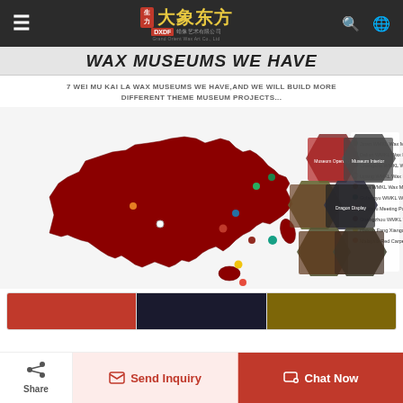大象东方 Grand Orient Wax Art Co., Ltd
WAX MUSEUMS WE HAVE
7 WEI MU KAI LA WAX MUSEUMS WE HAVE,AND WE WILL BUILD MORE DIFFERENT THEME MUSEUM PROJECTS...
[Figure (map): Map of China showing locations of wax museums with colored dots and a legend listing: Jinan WMKL Wax Museum, Dalian WMKL Wax Museum, Changsha WMKL Wax Museum, Lijiang WMKL Wax Museum, Tibet WMKL Wax Museum, Gulangyu WMKL Wax Museum, Guizhou Meeting Palace Red Theme Wax Museum, Guangzhou WMKL Wax Museum, Haikou Fang Xiangang Film Commons, Malaysia Red Carpet Wax Museum. Hexagonal photo collage on right side showing museum interiors.]